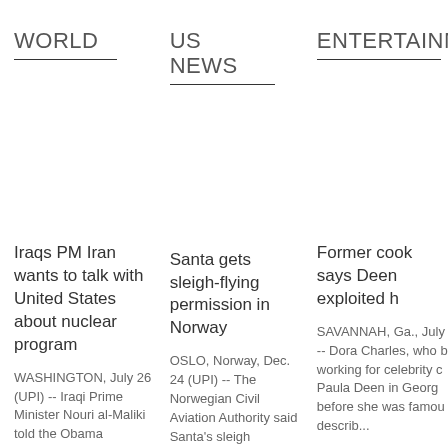WORLD
US NEWS
ENTERTAINMENT
Iraqs PM Iran wants to talk with United States about nuclear program
WASHINGTON, July 26 (UPI) -- Iraqi Prime Minister Nouri al-Maliki told the Obama administration Iran wants to hold talks
Santa gets sleigh-flying permission in Norway
OSLO, Norway, Dec. 24 (UPI) -- The Norwegian Civil Aviation Authority said Santa's sleigh
Former cook says Deen exploited h
SAVANNAH, Ga., July -- Dora Charles, who b working for celebrity c Paula Deen in Georg before she was famou describ...
0 : Comments | > Tweet article!